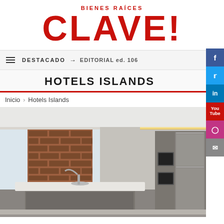BIENES RAÍCES CLAVE!
DESTACADO → EDITORIAL ed. 106
HOTELS ISLANDS
Inicio > Hotels Islands
[Figure (photo): Interior photo of a modern kitchen with a kitchen island featuring a white countertop, gray cabinetry, exposed brick wall accent, recessed lighting with warm LED strip, and glass-fronted cabinetry on the right side.]